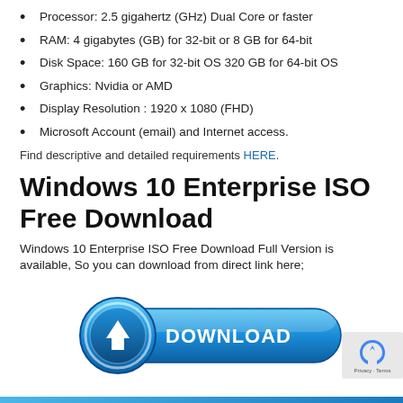Processor: 2.5 gigahertz (GHz) Dual Core or faster
RAM: 4 gigabytes (GB) for 32-bit or 8 GB for 64-bit
Disk Space: 160 GB for 32-bit OS 320 GB for 64-bit OS
Graphics: Nvidia or AMD
Display Resolution : 1920 x 1080 (FHD)
Microsoft Account (email) and Internet access.
Find descriptive and detailed requirements HERE.
Windows 10 Enterprise ISO Free Download
Windows 10 Enterprise ISO Free Download Full Version is available, So you can download from direct link here;
[Figure (illustration): Blue download button with arrow icon and DOWNLOAD text]